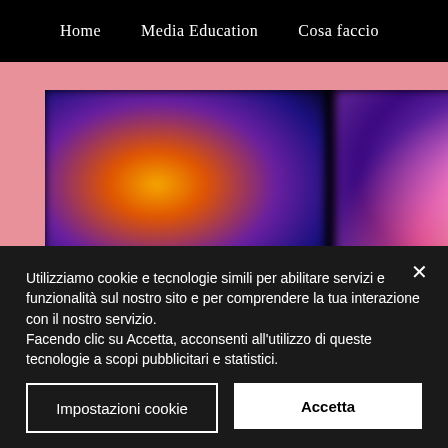Home   Media Education   Cosa faccio
[Figure (photo): Website screenshot showing a pink background with two blurred dark panels containing colorful game-like imagery — left panel has orange/yellow glow on dark blue, right panel has purple and orange glow on dark purple background.]
Utilizziamo cookie e tecnologie simili per abilitare servizi e funzionalità sul nostro sito e per comprendere la tua interazione con il nostro servizio.
Facendo clic su Accetta, acconsenti all'utilizzo di queste tecnologie a scopi pubblicitari e statistici.
Impostazioni cookie
Accetta